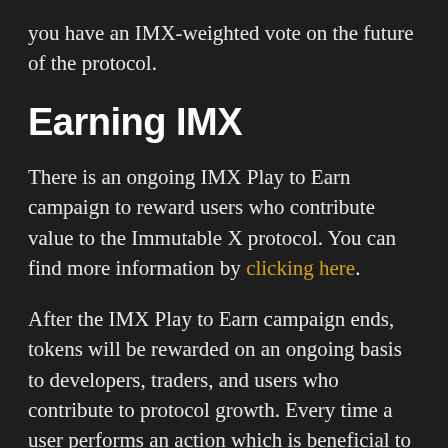you have an IMX-weighted vote on the future of the protocol.
Earning IMX
There is an ongoing IMX Play to Earn campaign to reward users who contribute value to the Immutable X protocol. You can find more information by clicking here.
After the IMX Play to Earn campaign ends, tokens will be rewarded on an ongoing basis to developers, traders, and users who contribute to protocol growth. Every time a user performs an action which is beneficial to Immutable X (such as trading), they will earn points. A rewards